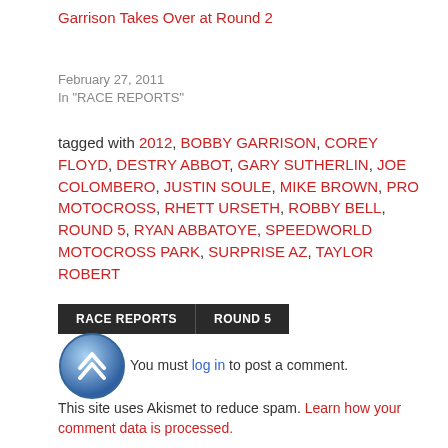Garrison Takes Over at Round 2
February 27, 2011
In "RACE REPORTS"
tagged with 2012, BOBBY GARRISON, COREY FLOYD, DESTRY ABBOT, GARY SUTHERLIN, JOE COLOMBERO, JUSTIN SOULE, MIKE BROWN, PRO MOTOCROSS, RHETT URSETH, ROBBY BELL, ROUND 5, RYAN ABBATOYE, SPEEDWORLD MOTOCROSS PARK, SURPRISE AZ, TAYLOR ROBERT
RACE REPORTS
ROUND 5
You must log in to post a comment.
This site uses Akismet to reduce spam. Learn how your comment data is processed.